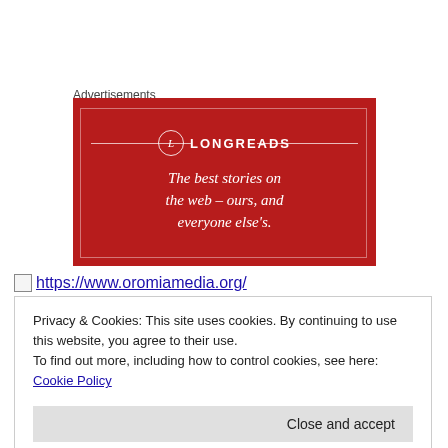Advertisements
[Figure (illustration): Longreads advertisement banner with red background. Features the Longreads logo (circle with L) and tagline: 'The best stories on the web – ours, and everyone else's.']
https://www.oromiamedia.org/
Privacy & Cookies: This site uses cookies. By continuing to use this website, you agree to their use.
To find out more, including how to control cookies, see here: Cookie Policy
Close and accept